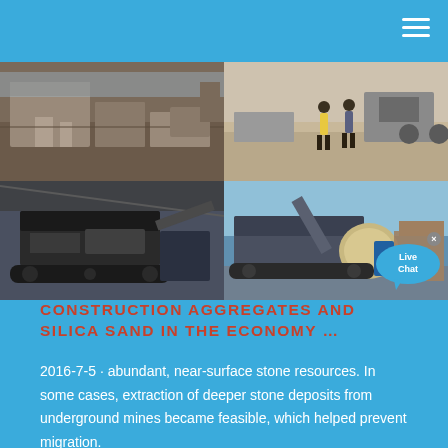[Figure (photo): 4-photo grid showing construction aggregate and mining equipment: top-left shows industrial building/plant exterior, top-right shows workers walking near industrial equipment, bottom-left shows large mobile crusher/screening machine indoors, bottom-right shows mobile crushing/screening equipment outdoors with 'Live Chat' bubble overlay]
CONSTRUCTION AGGREGATES AND SILICA SAND IN THE ECONOMY …
2016-7-5 · abundant, near-surface stone resources. In some cases, extraction of deeper stone deposits from underground mines became feasible, which helped prevent migration.